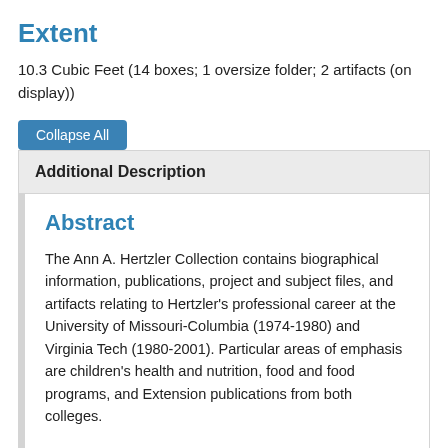Extent
10.3 Cubic Feet (14 boxes; 1 oversize folder; 2 artifacts (on display))
Collapse All
Additional Description
Abstract
The Ann A. Hertzler Collection contains biographical information, publications, project and subject files, and artifacts relating to Hertzler's professional career at the University of Missouri-Columbia (1974-1980) and Virginia Tech (1980-2001). Particular areas of emphasis are children's health and nutrition, food and food programs, and Extension publications from both colleges.
Arrangement